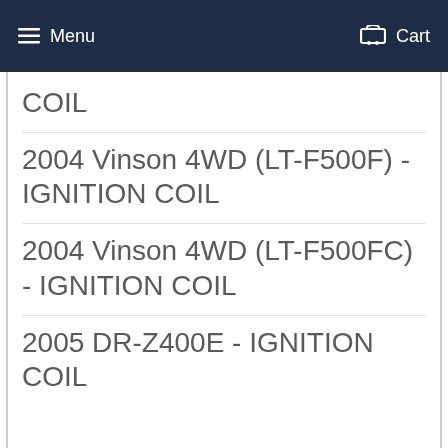Menu   Cart
COIL
2004 Vinson 4WD (LT-F500F) - IGNITION COIL
2004 Vinson 4WD (LT-F500FC) - IGNITION COIL
2005 DR-Z400E - IGNITION COIL